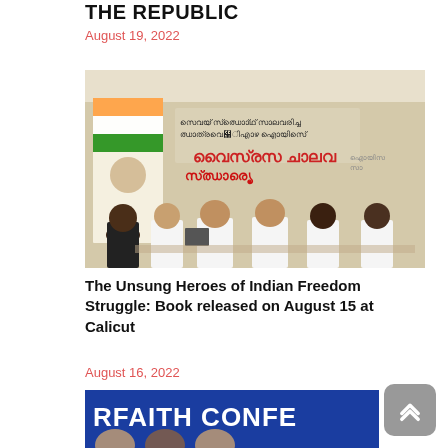THE REPUBLIC
August 19, 2022
[Figure (photo): Group of men in white kurtas at a book release event. Malayalam text banner visible in the background with orange/green Indian flag colors. Several men exchanging a book.]
The Unsung Heroes of Indian Freedom Struggle: Book released on August 15 at Calicut
August 16, 2022
[Figure (photo): Partial view of an interfaith conference banner. Blue background with white bold text 'RFAITH CONFE...' visible. Faces of attendees partially visible at bottom.]